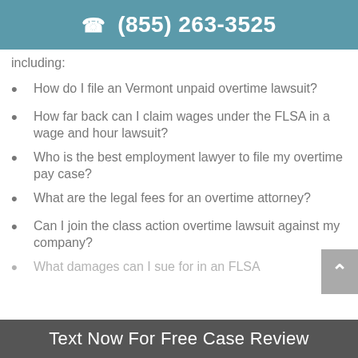(855) 263-3525
including:
How do I file an Vermont unpaid overtime lawsuit?
How far back can I claim wages under the FLSA in a wage and hour lawsuit?
Who is the best employment lawyer to file my overtime pay case?
What are the legal fees for an overtime attorney?
Can I join the class action overtime lawsuit against my company?
What damages can I sue for in an FLSA
Text Now For Free Case Review